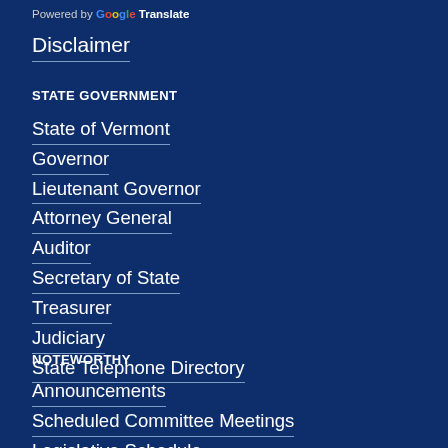Powered by Google Translate
Disclaimer
STATE GOVERNMENT
State of Vermont
Governor
Lieutenant Governor
Attorney General
Auditor
Secretary of State
Treasurer
Judiciary
State Telephone Directory
NOTEWORTHY
Announcements
Scheduled Committee Meetings
Legislative Schedule